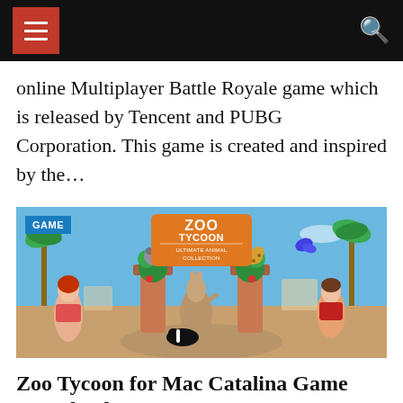Navigation bar with hamburger menu and search icon
online Multiplayer Battle Royale game which is released by Tencent and PUBG Corporation. This game is created and inspired by the…
[Figure (screenshot): Zoo Tycoon Ultimate Animal Collection game cover image showing animated zoo animals including a kangaroo, koala, leopard, and skunk near a zoo entrance, with a 'GAME' badge in the top left corner.]
Zoo Tycoon for Mac Catalina Game Download